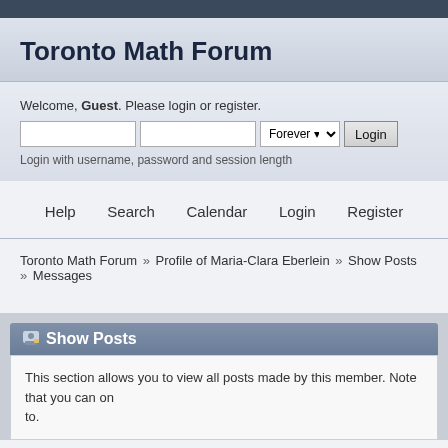Toronto Math Forum
Welcome, Guest. Please login or register.
Login with username, password and session length
Help   Search   Calendar   Login   Register
Toronto Math Forum » Profile of Maria-Clara Eberlein » Show Posts » Messages
Show Posts
This section allows you to view all posts made by this member. Note that you can only see posts made in areas you currently have access to.
Topics   Attachments
Messages - Maria-Clara Eberlein